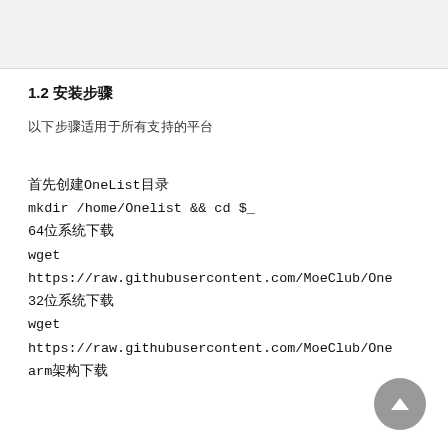[Figure (screenshot): Gray header bar at top of page, likely a navigation or image placeholder area]
1.2 安装步骤
以下步骤适用于所有支持的平台
首先创建OneList目录
mkdir /home/Onelist && cd $_
64位系统下载
wget
https://raw.githubusercontent.com/MoeClub/One
32位系统下载
wget
https://raw.githubusercontent.com/MoeClub/One
arm架构下载